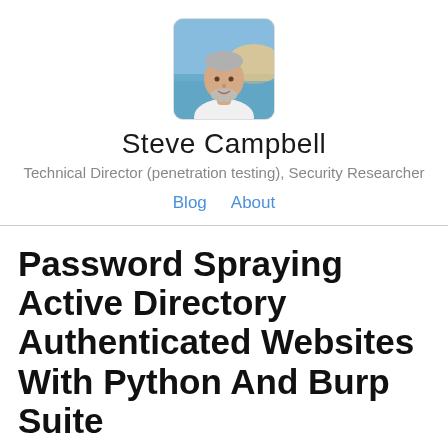[Figure (photo): Circular profile photo of Steve Campbell, a middle-aged man with grey beard, wearing white shirt, with ocean/sunset background]
Steve Campbell
Technical Director (penetration testing), Security Researcher
Blog   About
Password Spraying Active Directory Authenticated Websites With Python And Burp Suite
If you're the type that has a Burp Suite Pro t...